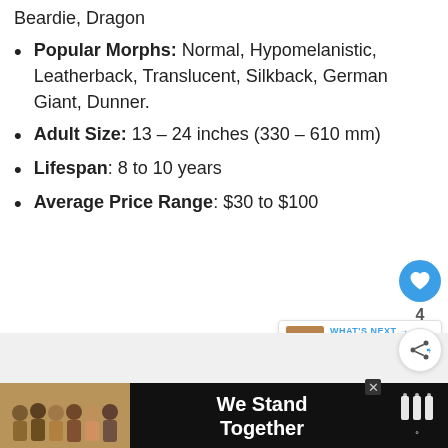Beardie, Dragon
Popular Morphs: Normal, Hypomelanistic, Leatherback, Translucent, Silkback, German Giant, Dunner.
Adult Size: 13 – 24 inches (330 – 610 mm)
Lifespan: 8 to 10 years
Average Price Range: $30 to $100
[Figure (infographic): What's Next box with thumbnail image and text 'Best Pet Snakes (Top...']
[Figure (photo): Advertisement banner at bottom with group of people and text 'We Stand Together' on dark background]